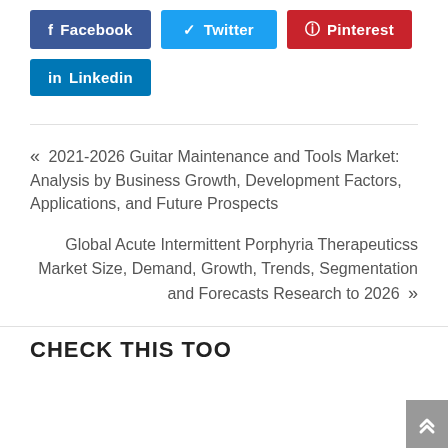[Figure (other): Social share buttons: Facebook (dark blue), Twitter (light blue), Pinterest (red), Linkedin (blue)]
« 2021-2026 Guitar Maintenance and Tools Market: Analysis by Business Growth, Development Factors, Applications, and Future Prospects
Global Acute Intermittent Porphyria Therapeuticss Market Size, Demand, Growth, Trends, Segmentation and Forecasts Research to 2026 »
CHECK THIS TOO